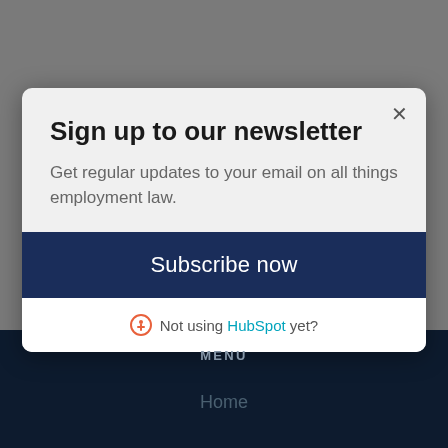Sign up to our newsletter
Get regular updates to your email on all things employment law.
Subscribe now
Not using HubSpot yet?
MENU
Home